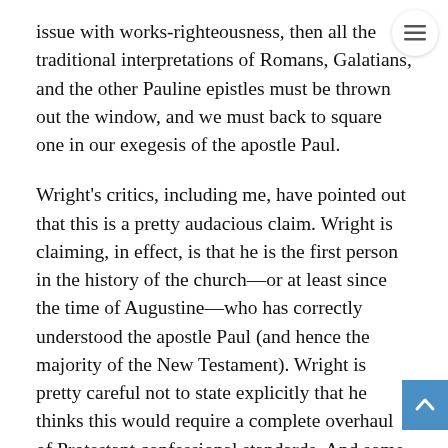issue with works-righteousness, then all the traditional interpretations of Romans, Galatians, and the other Pauline epistles must be thrown out the window, and we must back to square one in our exegesis of the apostle Paul.
Wright's critics, including me, have pointed out that this is a pretty audacious claim. Wright is claiming, in effect, is that he is the first person in the history of the church—or at least since the time of Augustine—who has correctly understood the apostle Paul (and hence the majority of the New Testament). Wright is pretty careful not to state explicitly that he thinks this would require a complete overhaul of Protestant confessional standards. And some of Wright's Presbyterian advocates in America have denied with great passion that Wright's beliefs pose any threat whatsoever to the historic Protestant creeds. But it would seem patently obvious to me that if the whole foundation of our Pauline exegesis is brought back to square one, the we can throw out every creed and systematic theology ever written by anyone who adhered to the old perspective